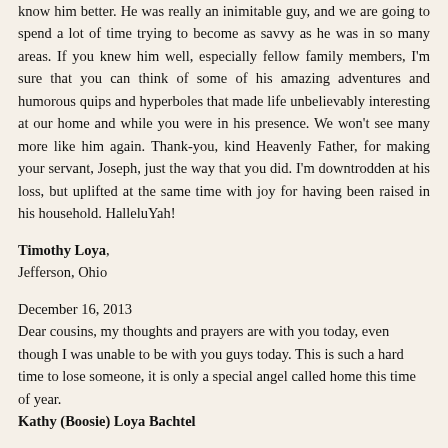know him better. He was really an inimitable guy, and we are going to spend a lot of time trying to become as savvy as he was in so many areas. If you knew him well, especially fellow family members, I'm sure that you can think of some of his amazing adventures and humorous quips and hyperboles that made life unbelievably interesting at our home and while you were in his presence. We won't see many more like him again. Thank-you, kind Heavenly Father, for making your servant, Joseph, just the way that you did. I'm downtrodden at his loss, but uplifted at the same time with joy for having been raised in his household. HalleluYah!
Timothy Loya,
Jefferson, Ohio
December 16, 2013
Dear cousins, my thoughts and prayers are with you today, even though I was unable to be with you guys today. This is such a hard time to lose someone, it is only a special angel called home this time of year.
Kathy (Boosie) Loya Bachtel
December 16, 2013
May the Almighty Creator of all place Joseph in a place where there is no more pain, sorrow or mourning, but life eternal full of